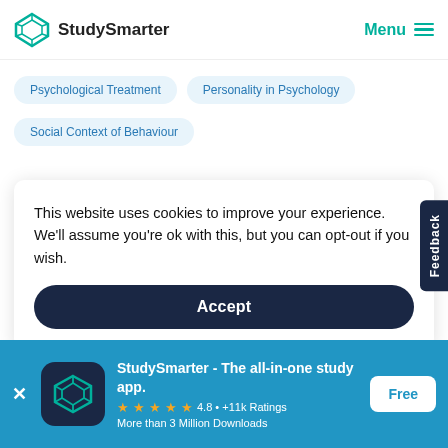[Figure (logo): StudySmarter logo with teal diamond/octahedron icon and text 'StudySmarter']
Menu
Psychological Treatment
Personality in Psychology
Social Context of Behaviour
This website uses cookies to improve your experience. We'll assume you're ok with this, but you can opt-out if you wish.
Accept
Feedback
StudySmarter - The all-in-one study app.
4.8 • +11k Ratings
More than 3 Million Downloads
Free